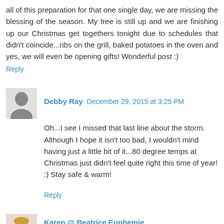all of this preparation for that one single day, we are missing the blessing of the season. My tree is still up and we are finishing up our Christmas get togethers tonight due to schedules that didn't coincide...ribs on the grill, baked potatoes in the oven and yes, we will even be opening gifts! Wonderful post :)
Reply
Debby Ray  December 29, 2015 at 3:25 PM
Oh...I see I missed that last line about the storm. Although I hope it isn't too bad, I wouldn't mind having just a little bit of it...80 degree temps at Christmas just didn't feel quite right this time of year! :) Stay safe & warm!
Reply
Karen @ Beatrice Euphemie  December 29, 2015 at 3:46 PM
Such beautiful and heartfelt words, Deborah. Life seems to